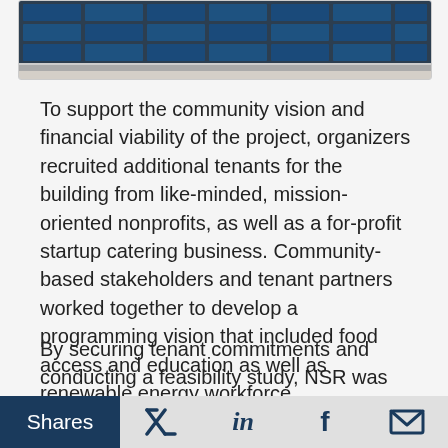[Figure (photo): Partial view of solar panels on a rooftop, showing the blue photovoltaic cells and metal framing against a light background, partially cropped at the top of the page.]
To support the community vision and financial viability of the project, organizers recruited additional tenants for the building from like-minded, mission-oriented nonprofits, as well as a for-profit startup catering business. Community-based stakeholders and tenant partners worked together to develop a programming vision that included food access and education as well as renewable energy workforce development.
By securing tenant commitments and conducting a feasibility study, NSR was able to develop a comprehensive project budget, supported by projected revenues, that made it a strong candidate for philanthropic and government grants. These revenues include tenant lease payments, event rentals, and
Shares